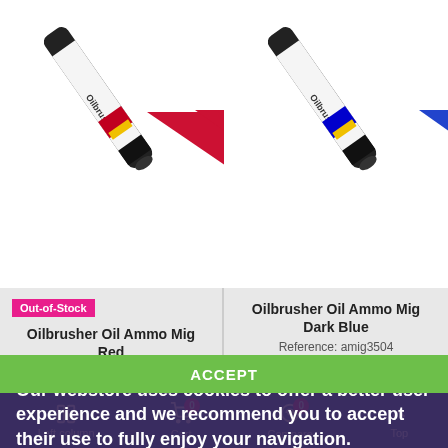[Figure (photo): Two Oilbrusher paint markers shown from above — left one is red, right one is dark blue — each with a colored triangular paint swatch beside it]
Out-of-Stock
Oilbrusher Oil Ammo Mig Red
Reference: amig3503
€2.75
Oilbrusher Oil Ammo Mig Dark Blue
Reference: amig3504
€2.75
Our webstore uses cookies to offer a better user experience and we recommend you to accept their use to fully enjoy your navigation.
More information   Customize Cookies
Left column   Cart 0   Compare 0   Top